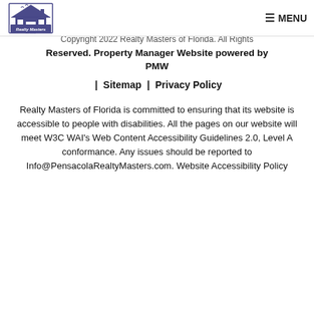Realty Masters of Florida — MENU
Copyright 2022 Realty Masters of Florida. All Rights Reserved. Property Manager Website powered by PMW
| Sitemap | Privacy Policy
Realty Masters of Florida is committed to ensuring that its website is accessible to people with disabilities. All the pages on our website will meet W3C WAI's Web Content Accessibility Guidelines 2.0, Level A conformance. Any issues should be reported to Info@PensacolaRealtyMasters.com. Website Accessibility Policy